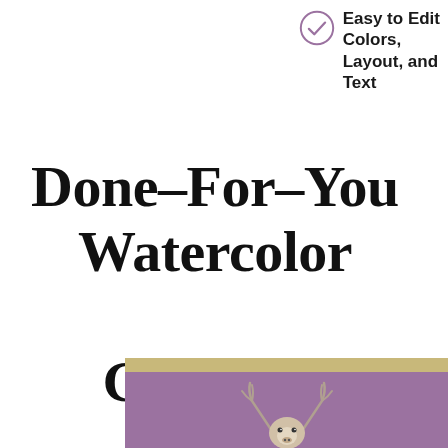Easy to Edit Colors, Layout, and Text
Done-For-You Watercolor Graphics
[Figure (illustration): Purple and gold banner at bottom with a watercolor deer/stag illustration emerging from it]